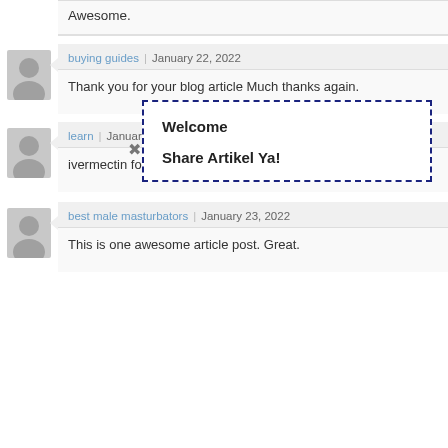Awesome.
buying guides | January 22, 2022
Thank you for your blog article Much thanks again.
Welcome

Share Artikel Ya!
learn | January 22, 2022
ivermectin for foxes ivermectin (stromectol).
best male masturbators | January 23, 2022
This is one awesome article post. Great.